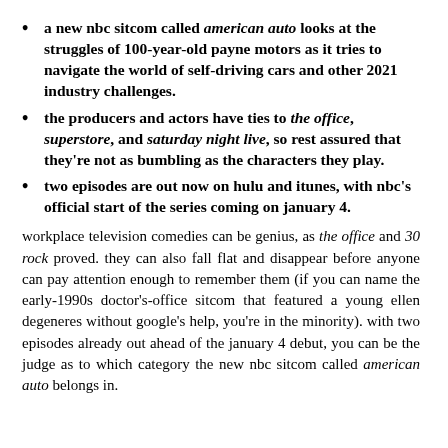a new nbc sitcom called american auto looks at the struggles of 100-year-old payne motors as it tries to navigate the world of self-driving cars and other 2021 industry challenges.
the producers and actors have ties to the office, superstore, and saturday night live, so rest assured that they're not as bumbling as the characters they play.
two episodes are out now on hulu and itunes, with nbc's official start of the series coming on january 4.
workplace television comedies can be genius, as the office and 30 rock proved. they can also fall flat and disappear before anyone can pay attention enough to remember them (if you can name the early-1990s doctor's-office sitcom that featured a young ellen degeneres without google's help, you're in the minority). with two episodes already out ahead of the january 4 debut, you can be the judge as to which category the new nbc sitcom called american auto belongs in.